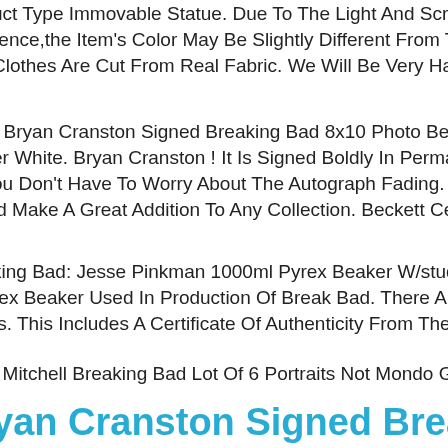uct Type Immovable Statue. Due To The Light And Screen rence,the Item's Color May Be Slightly Different From The Pictur Clothes Are Cut From Real Fabric. We Will Be Very Happy To Help
r Bryan Cranston Signed Breaking Bad 8x10 Photo Beckett 1 Coa er White. Bryan Cranston ! It Is Signed Boldly In Permanent Sharp ou Don't Have To Worry About The Autograph Fading. This Item ld Make A Great Addition To Any Collection. Beckett Cert # S135
king Bad: Jesse Pinkman 1000ml Pyrex Beaker W/studio Coa. Thi rex Beaker Used In Production Of Break Bad. There Are No Majc :s. This Includes A Certificate Of Authenticity From The Studio.
Mitchell Breaking Bad Lot Of 6 Portraits Not Mondo Giclee Print
yan Cranston Signed Breaking Bad